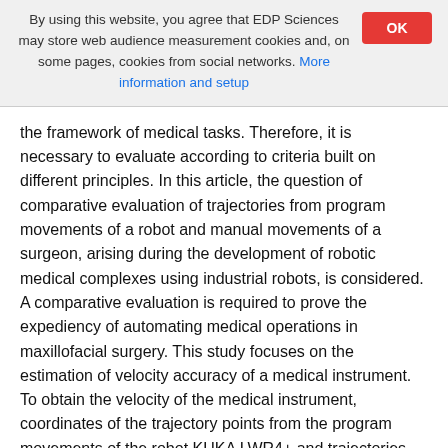By using this website, you agree that EDP Sciences may store web audience measurement cookies and, on some pages, cookies from social networks. More information and setup
the framework of medical tasks. Therefore, it is necessary to evaluate according to criteria built on different principles. In this article, the question of comparative evaluation of trajectories from program movements of a robot and manual movements of a surgeon, arising during the development of robotic medical complexes using industrial robots, is considered. A comparative evaluation is required to prove the expediency of automating medical operations in maxillofacial surgery. This study focuses on the estimation of velocity accuracy of a medical instrument. To obtain the velocity of the medical instrument, coordinates of the trajectory points from the program movements of the robot KUKA LWR4+ and trajectories from the manual movements of a professional surgeon have been measured. The measurement was carried